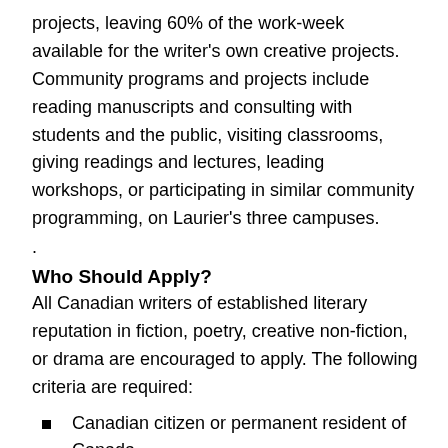projects, leaving 60% of the work-week available for the writer's own creative projects. Community programs and projects include reading manuscripts and consulting with students and the public, visiting classrooms, giving readings and lectures, leading workshops, or participating in similar community programming, on Laurier's three campuses.
.
Who Should Apply?
All Canadian writers of established literary reputation in fiction, poetry, creative non-fiction, or drama are encouraged to apply. The following criteria are required:
Canadian citizen or permanent resident of Canada.
Established literary reputation with critically well-received work.